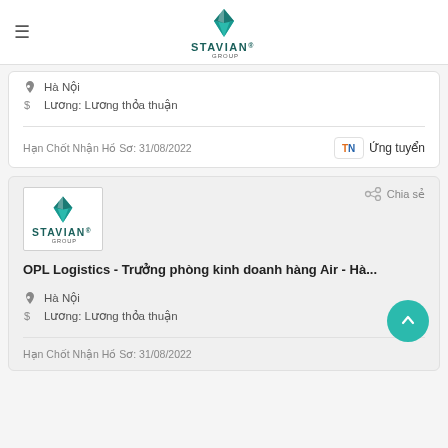Stavian Group
Hà Nội
Lương: Lương thỏa thuận
Hạn Chốt Nhận Hồ Sơ: 31/08/2022
Ứng tuyển
[Figure (logo): Stavian Group logo in a bordered box]
Chia sẻ
OPL Logistics - Trưởng phòng kinh doanh hàng Air - Hà...
Hà Nội
Lương: Lương thỏa thuận
Hạn Chốt Nhận Hồ Sơ: 31/08/2022